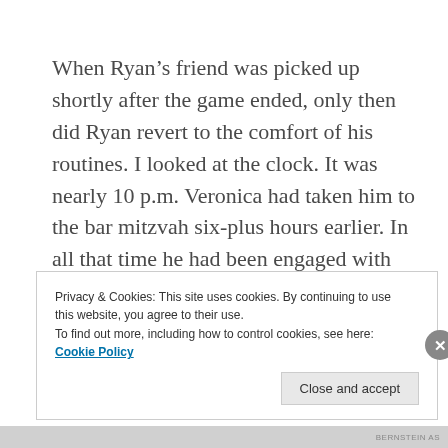When Ryan's friend was picked up shortly after the game ended, only then did Ryan revert to the comfort of his routines. I looked at the clock. It was nearly 10 p.m. Veronica had taken him to the bar mitzvah six-plus hours earlier. In all that time he had been engaged with friends and peers, enjoying himself, with only the most minimal interaction with us.
Privacy & Cookies: This site uses cookies. By continuing to use this website, you agree to their use. To find out more, including how to control cookies, see here: Cookie Policy
Close and accept
BERNSTEIN AS